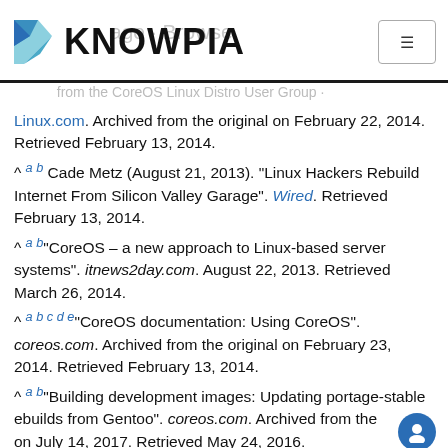KNOWPIA
Linux.com. Archived from the original on February 22, 2014. Retrieved February 13, 2014.
^ a b Cade Metz (August 21, 2013). "Linux Hackers Rebuild Internet From Silicon Valley Garage". Wired. Retrieved February 13, 2014.
^ a b "CoreOS – a new approach to Linux-based server systems". itnews2day.com. August 22, 2013. Retrieved March 26, 2014.
^ a b c d e "CoreOS documentation: Using CoreOS". coreos.com. Archived from the original on February 23, 2014. Retrieved February 13, 2014.
^ a b "Building development images: Updating portage-stable ebuilds from Gentoo". coreos.com. Archived from the original on July 14, 2017. Retrieved May 24, 2016.
^ a b "Distributions based on Gentoo". gentoo.org. March